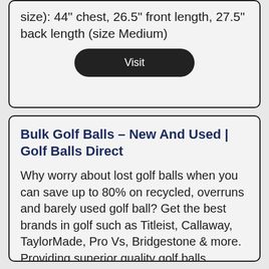size): 44" chest, 26.5" front length, 27.5" back length (size Medium)
[Figure (other): Dark rounded rectangle button with white text 'Visit']
Bulk Golf Balls – New And Used | Golf Balls Direct
Why worry about lost golf balls when you can save up to 80% on recycled, overruns and barely used golf ball? Get the best brands in golf such as Titleist, Callaway, TaylorMade, Pro Vs, Bridgestone & more. Providing superior quality golf balls, ...